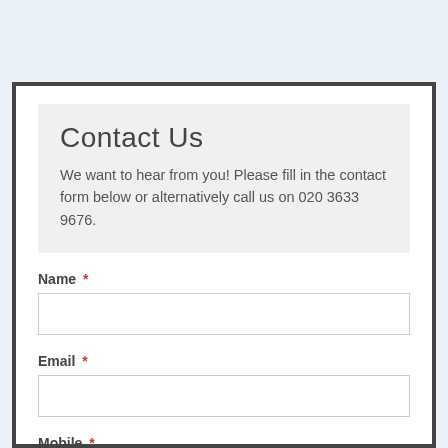Contact Us
We want to hear from you! Please fill in the contact form below or alternatively call us on 020 3633 9676.
Name *
Email *
Mobile *